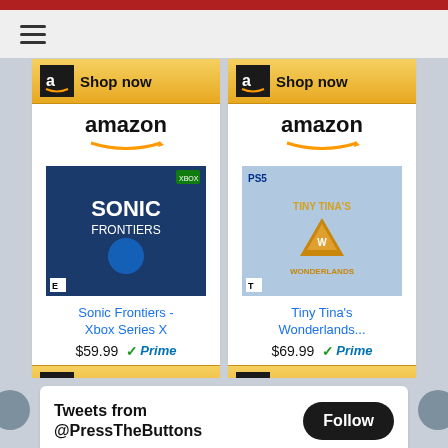[Figure (screenshot): Amazon advertisement card for Sonic Frontiers Xbox Series X showing game cover art, price $59.99, Prime badge, and Shop now button]
[Figure (screenshot): Amazon advertisement card for Tiny Tina's Wonderlands PS5 showing game cover art, price $69.99, Prime badge, and Shop now button]
Tweets from @PressTheButtons
Follow